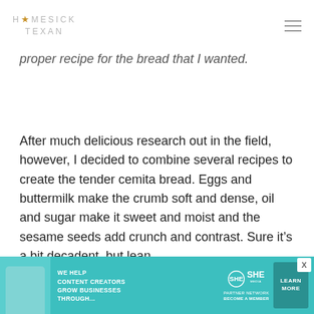HOMESICK TEXAN
proper recipe for the bread that I wanted.
After much delicious research out in the field, however, I decided to combine several recipes to create the tender cemita bread. Eggs and buttermilk make the crumb soft and dense, oil and sugar make it sweet and moist and the sesame seeds add crunch and contrast. Sure it's a bit decadent, but lean
[Figure (infographic): SHE Partner Network advertisement banner with teal/green background, woman with laptop, headline 'We Help Content Creators Grow Businesses Through...', SHE logo, and 'Learn More' button]